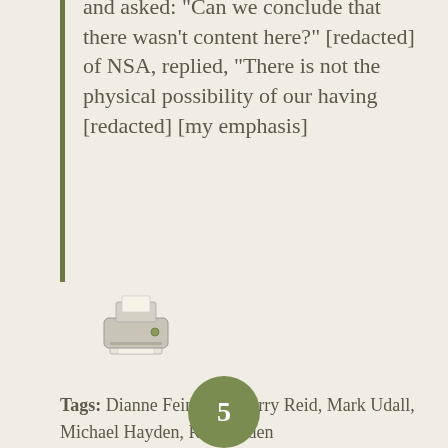and asked: "Can we conclude that there wasn't content here?" [redacted] of NSA, replied, "There is not the physical possibility of our having [redacted] [my emphasis]
[Figure (illustration): Printer icon illustration]
Tags: Dianne Feinstein, Harry Reid, Mark Udall, Michael Hayden, Ron Wyden
Share this entry
| f | twitter bird | WhatsApp circle | envelope |